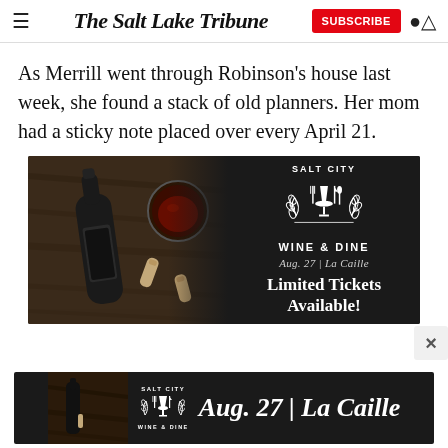The Salt Lake Tribune | SUBSCRIBE
As Merrill went through Robinson's house last week, she found a stack of old planners. Her mom had a sticky note placed over every April 21.
[Figure (advertisement): Salt City Wine & Dine advertisement banner. Left half shows a flat-lay photo of a wine bottle, wine glass, and corks on a wooden surface. Right half is dark with white text: SALT CITY, decorative wine glass and silverware logo, WINE & DINE, Aug. 27 | La Caille, Limited Tickets Available!]
[Figure (advertisement): Bottom banner ad for Salt City Wine & Dine showing small logo on left and large italic white text: Aug. 27 | La Caille on dark background.]